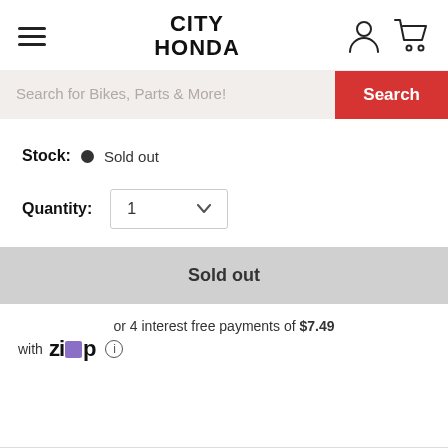City Honda
Search for Bikes, Parts & More!
Stock: Sold out
Quantity: 1
Sold out
or 4 interest free payments of $7.49 with Zip